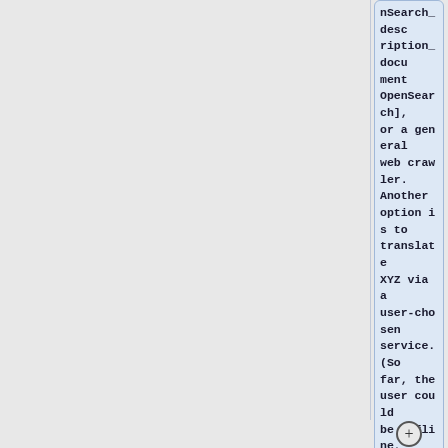nSearch_description_document OpenSearch], or a general web crawler. Another option is to translate XYZ via a user-chosen service. (So far, the user could be offline, and no information has left the user's device.)